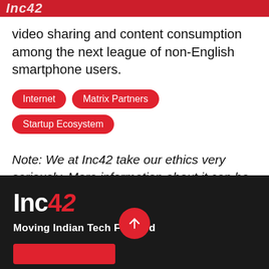Inc42
video sharing and content consumption among the next league of non-English smartphone users.
Internet
Matrix Partners
Startup Ecosystem
Note: We at Inc42 take our ethics very seriously. More information about it can be found here.
Inc42 — Moving Indian Tech Forward